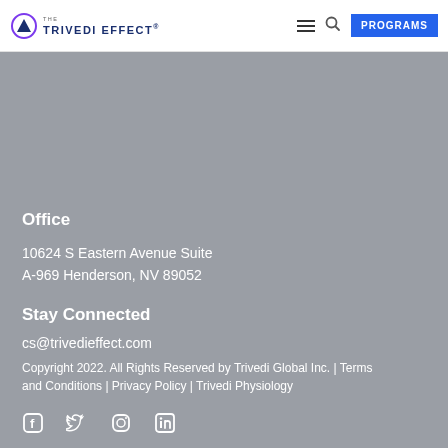THE TRIVEDI EFFECT® [hamburger menu] [search] PROGRAMS
[Figure (logo): Trivedi Effect logo: circular icon with triangle and TRIVEDI EFFECT® text in blue/purple gradient]
Office
10624 S Eastern Avenue Suite
A-969 Henderson, NV 89052
Stay Connected
cs@trivedieffect.com
Copyright 2022. All Rights Reserved by Trivedi Global Inc. | Terms and Conditions | Privacy Policy | Trivedi Physiology
[Figure (illustration): Social media icons: Facebook, Twitter, Instagram, LinkedIn in white]